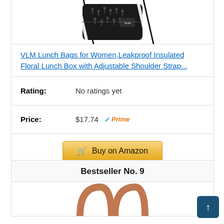[Figure (photo): VLM lunch bag product photo showing a black floral insulated lunch bag with shoulder strap, top portion visible]
VLM Lunch Bags for Women,Leakproof Insulated Floral Lunch Box with Adjustable Shoulder Strap...
Rating: No ratings yet
Price: $17.74 Prime
Buy on Amazon
Bestseller No. 9
[Figure (photo): Partial product image showing handles of a bag, pinkish-brown color, bottom of card cut off]